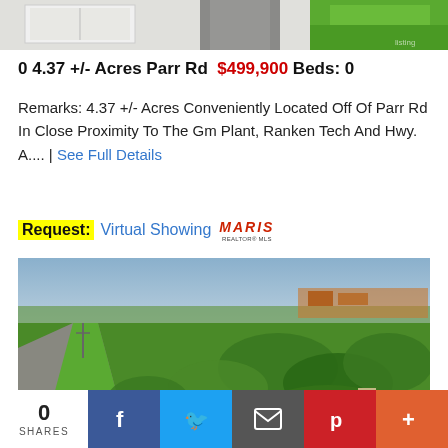[Figure (photo): Aerial view of property from above showing rooftop and green area]
0 4.37 +/- Acres Parr Rd  $499,900 Beds: 0
Remarks: 4.37 +/- Acres Conveniently Located Off Of Parr Rd In Close Proximity To The Gm Plant, Ranken Tech And Hwy. A.... | See Full Details
Request: Virtual Showing MARIS
[Figure (photo): Aerial drone photograph showing highway intersection surrounded by trees and green land, with commercial area visible in background]
0 SHARES | Facebook | Twitter | Email | Pinterest | More